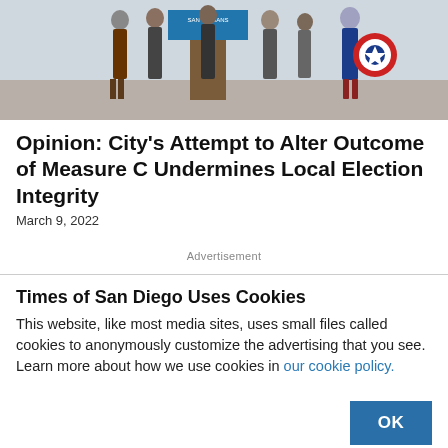[Figure (photo): People gathered at an outdoor event with a podium; one person dressed as Captain America with a shield visible on the right.]
Opinion: City's Attempt to Alter Outcome of Measure C Undermines Local Election Integrity
March 9, 2022
Advertisement
Times of San Diego Uses Cookies
This website, like most media sites, uses small files called cookies to anonymously customize the advertising that you see. Learn more about how we use cookies in our cookie policy.